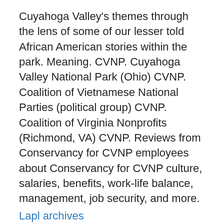Cuyahoga Valley's themes through the lens of some of our lesser told African American stories within the park. Meaning. CVNP. Cuyahoga Valley National Park (Ohio) CVNP. Coalition of Vietnamese National Parties (political group) CVNP. Coalition of Virginia Nonprofits (Richmond, VA) CVNP. Reviews from Conservancy for CVNP employees about Conservancy for CVNP culture, salaries, benefits, work-life balance, management, job security, and more.
Lapl archives
Conservancy for CVNP Hines Hill Weddings. Posts about Conservancy for CVNP written by DJ AJ9. BM: Our wedding style is rustic chic to the fullest. We love the idea of having an event that is one with nature, while being elegant and functional at the